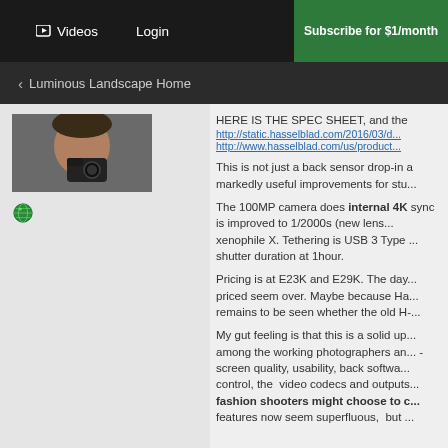Videos  Login  Subscribe for $1/month
< Luminous Landscape Home
[Figure (photo): User avatar photo showing a man with camera, and a globe icon below]
HERE IS THE SPEC SHEET, and the http://static.hasselblad.com/2016/03/d... http://www.hasselblad.com/us/product...
This is not just a back sensor drop-in and markedly useful improvements for stu...
The 100MP camera does internal 4K sync is improved to 1/2000s (new lens... xenophile X. Tethering is USB 3 Type ... shutter duration at 1hour.
Pricing is at E23K and E29K. The day... priced seem over. Maybe because Ha... remains to be seen whether the old H-...
My gut feeling is that this is a solid up... among the working photographers an... - screen quality, usability, back softwa... control, the  video codecs and outputs... fashion shooters might choose to c... features now seem superfluous,  but ...